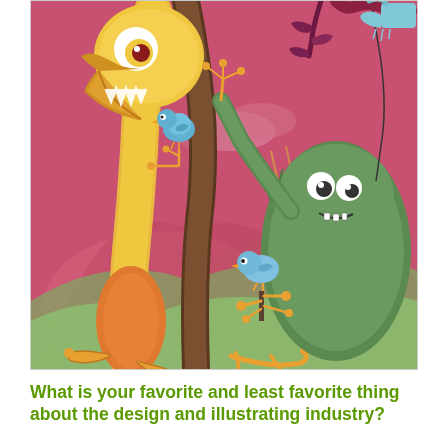[Figure (illustration): A colorful digital illustration featuring fantasy creatures: a tall yellow bird-like monster with one large eye and an open mouth showing teeth, a small blue bird perched on its body, a green furry monster with googly eyes holding a thin branch with a blue bird and orange branch tips, dark tree trunk in center, a hand holding a watering can in upper right, pink/red cloudy sky background with green hills.]
What is your favorite and least favorite thing about the design and illustrating industry?